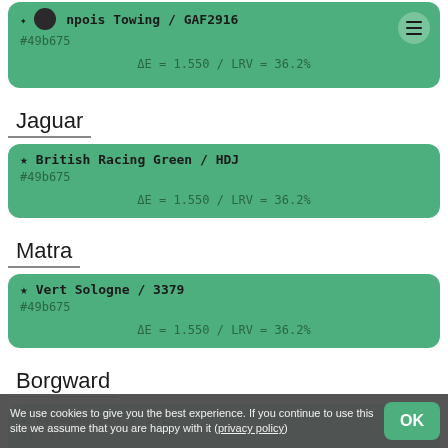★ Chenpois Towing / GAF2916 #49b675 ΔE = 1.550 / LRV = 36.2%
Jaguar
★ British Racing Green / HDJ #49b675 ΔE = 1.550 / LRV = 36.2%
Matra
★ Vert Sologne / 3379 #49b675 ΔE = 1.550 / LRV = 36.2%
Borgward
★ Resedagruen / 97L #49b675 ΔE = 1.550 / LRV = 36.2%
We use cookies to give you the best experience. If you continue to use this site we assume that you are happy with it (privacy policy)